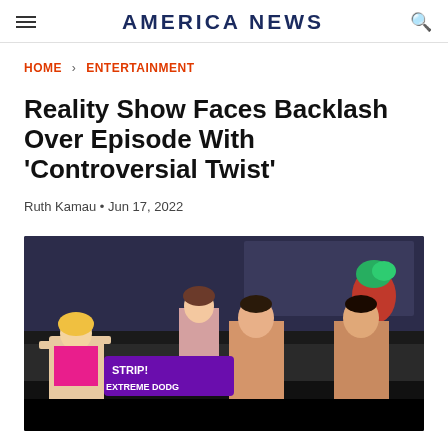AMERICA News
HOME > ENTERTAINMENT
Reality Show Faces Backlash Over Episode With 'Controversial Twist'
Ruth Kamau • Jun 17, 2022
[Figure (photo): A scene from a reality TV show featuring contestants in a studio setting. Some participants appear shirtless in front of a stage with signage partially reading 'STRIP! EXTREME DODG...' with censored areas at the bottom of the frame.]